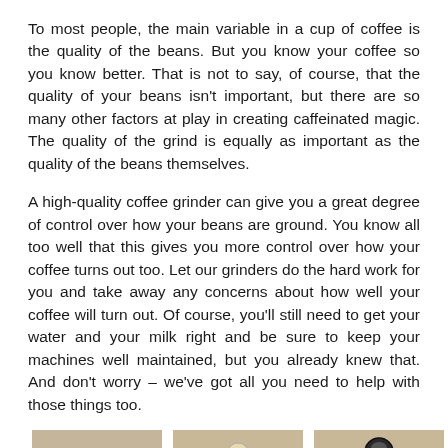To most people, the main variable in a cup of coffee is the quality of the beans. But you know your coffee so you know better. That is not to say, of course, that the quality of your beans isn't important, but there are so many other factors at play in creating caffeinated magic. The quality of the grind is equally as important as the quality of the beans themselves.
A high-quality coffee grinder can give you a great degree of control over how your beans are ground. You know all too well that this gives you more control over how your coffee turns out too. Let our grinders do the hard work for you and take away any concerns about how well your coffee will turn out. Of course, you'll still need to get your water and your milk right and be sure to keep your machines well maintained, but you already knew that. And don't worry – we've got all you need to help with those things too.
[Figure (photo): Three side-by-side photos of manual coffee grinders on a neutral beige/tan background. Left: a chrome and wood manual grinder showing the handle and dome body. Center: a ceramic cup-style manual grinder with a wooden knob. Right: close-up of the top handle mechanism of a manual coffee grinder.]